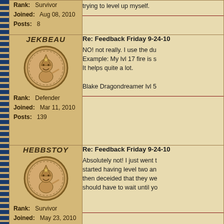Rank: Survivor
Joined: Aug 08, 2010
Posts: 8
trying to level up myself.
JEKBEAU
[Figure (illustration): Round coin-style avatar with cartoon character wearing a pointed hat]
Rank: Defender
Joined: Mar 11, 2010
Posts: 139
Re: Feedback Friday 9-24-10
NO! not really. I use the du
Example: My lvl 17 fire is s
It helps quite a lot.

Blake Dragondreamer lvl 5
HEBBSTOY
[Figure (illustration): Round coin-style avatar with cartoon character wearing a pointed hat]
Rank: Survivor
Joined: May 23, 2010
Posts: 1
Re: Feedback Friday 9-24-10
Absolutely not! I just went t started having level two an then deceided that they we should have to wait until yo
LIAAMANODEL
Re: Feedback Friday 9-24-10